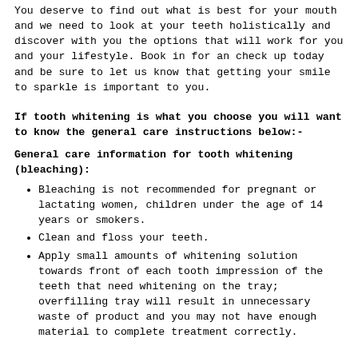You deserve to find out what is best for your mouth and we need to look at your teeth holistically and discover with you the options that will work for you and your lifestyle. Book in for an check up today and be sure to let us know that getting your smile to sparkle is important to you.
If tooth whitening is what you choose you will want to know the general care instructions below:-
General care information for tooth whitening (bleaching):
Bleaching is not recommended for pregnant or lactating women, children under the age of 14 years or smokers.
Clean and floss your teeth.
Apply small amounts of whitening solution towards front of each tooth impression of the teeth that need whitening on the tray; overfilling tray will result in unnecessary waste of product and you may not have enough material to complete treatment correctly.